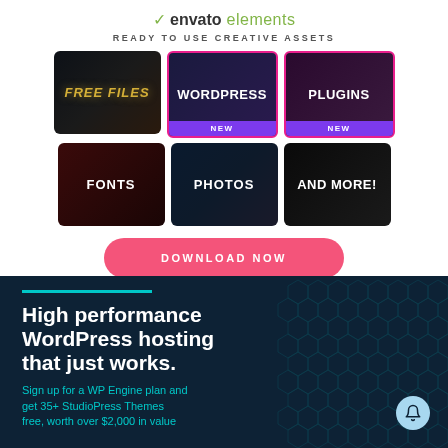[Figure (logo): Envato Elements logo with green leaf icon, 'envato' in dark bold and 'elements' in green light weight]
READY TO USE CREATIVE ASSETS
[Figure (infographic): 3x2 grid of category tiles: FREE FILES (dark/gold), WORDPRESS NEW (dark purple with pink border, purple NEW badge), PLUGINS NEW (dark purple with pink border, purple NEW badge), FONTS (dark red), PHOTOS (dark blue), AND MORE! (dark black)]
[Figure (other): Pink rounded button labeled DOWNLOAD NOW]
[Figure (infographic): Dark navy banner with teal bar accent, white bold text 'High performance WordPress hosting that just works.' and teal subtext 'Sign up for a WP Engine plan and get 35+ StudioPress Themes free, worth over $2,000 in value']